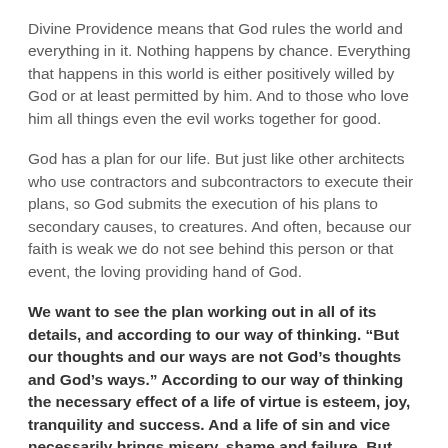Divine Providence means that God rules the world and everything in it. Nothing happens by chance. Everything that happens in this world is either positively willed by God or at least permitted by him. And to those who love him all things even the evil works together for good.
God has a plan for our life. But just like other architects who use contractors and subcontractors to execute their plans, so God submits the execution of his plans to secondary causes, to creatures. And often, because our faith is weak we do not see behind this person or that event, the loving providing hand of God.
We want to see the plan working out in all of its details, and according to our way of thinking. “But our thoughts and our ways are not God’s thoughts and God’s ways.” According to our way of thinking the necessary effect of a life of virtue is esteem, joy, tranquility and success. And a life of sin and vice necessarily brings misery, shame and failure. But how different are the thoughts of God who sometimes blesses us with failure and curses us with success.